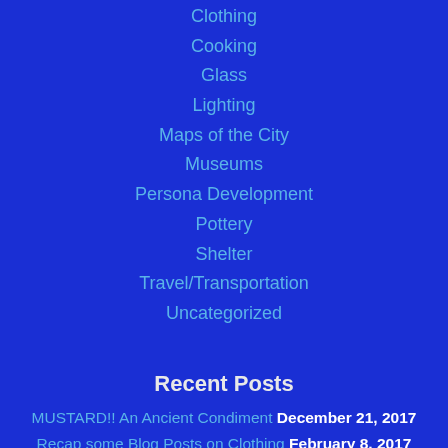Clothing
Cooking
Glass
Lighting
Maps of the City
Museums
Persona Development
Pottery
Shelter
Travel/Transportation
Uncategorized
Recent Posts
MUSTARD!! An Ancient Condiment December 21, 2017
Recap some Blog Posts on Clothing February 8, 2017
Laurel's Prize Tourney: FOOD! October 12, 2016
Laurelia Prize Tourney: Armor, Weaponea, Porthased de Lo...